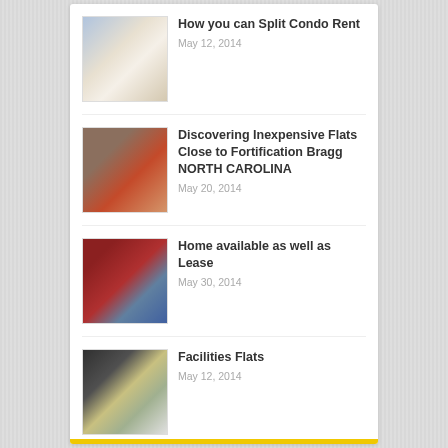How you can Split Condo Rent
May 12, 2014
Discovering Inexpensive Flats Close to Fortification Bragg NORTH CAROLINA
May 20, 2014
Home available as well as Lease
May 30, 2014
Facilities Flats
May 12, 2014
The spanish language Flats in order to Lease
June 3, 2014